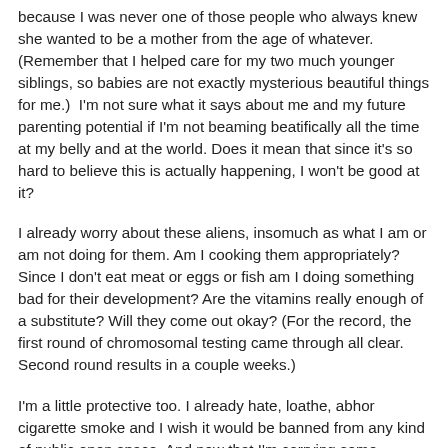because I was never one of those people who always knew she wanted to be a mother from the age of whatever. (Remember that I helped care for my two much younger siblings, so babies are not exactly mysterious beautiful things for me.)  I'm not sure what it says about me and my future parenting potential if I'm not beaming beatifically all the time at my belly and at the world. Does it mean that since it's so hard to believe this is actually happening, I won't be good at it?
I already worry about these aliens, insomuch as what I am or am not doing for them. Am I cooking them appropriately? Since I don't eat meat or eggs or fish am I doing something bad for their development? Are the vitamins really enough of a substitute? Will they come out okay? (For the record, the first round of chromosomal testing came through all clear. Second round results in a couple weeks.)
I'm a little protective too. I already hate, loathe, abhor cigarette smoke and I wish it would be banned from any kind of public open space. And now that I'm carrying some innocent life that's still building itself, I find that I hate having to walk by smokers even more for polluting the air, my air.